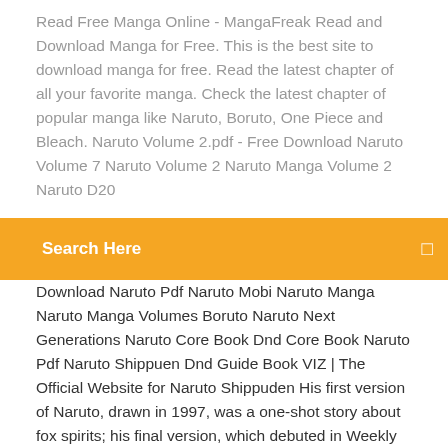Read Free Manga Online - MangaFreak Read and Download Manga for Free. This is the best site to download manga for free. Read the latest chapter of all your favorite manga. Check the latest chapter of popular manga like Naruto, Boruto, One Piece and Bleach. Naruto Volume 2.pdf - Free Download Naruto Volume 7 Naruto Volume 2 Naruto Manga Volume 2 Naruto D20
Search Here
Download Naruto Pdf Naruto Mobi Naruto Manga Naruto Manga Volumes Boruto Naruto Next Generations Naruto Core Book Dnd Core Book Naruto Pdf Naruto Shippuen Dnd Guide Book VIZ | The Official Website for Naruto Shippuden His first version of Naruto, drawn in 1997, was a one-shot story about fox spirits; his final version, which debuted in Weekly Shonen Jump in 1999, quickly became the most popular ninja manga in the world. The series would also spawn multiple anime series, movies, novels, video games and more. Naruto Shippuden Manga Online